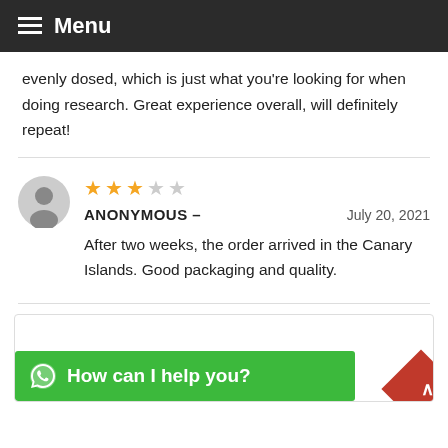Menu
evenly dosed, which is just what you're looking for when doing research. Great experience overall, will definitely repeat!
ANONYMOUS – July 20, 2021
After two weeks, the order arrived in the Canary Islands. Good packaging and quality.
Your email address will not be published.
How can I help you?